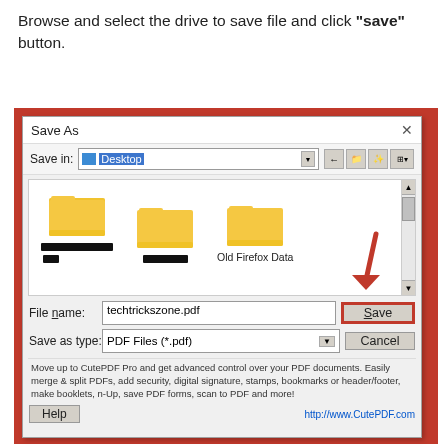Browse and select the drive to save file and click "save" button.
[Figure (screenshot): Windows Save As dialog box showing Desktop with three folder icons, file name field 'techtrickszone.pdf', Save as type 'PDF Files (*.pdf)', with a red arrow annotation pointing to the Save button highlighted with a red border. CutePDF branding at bottom.]